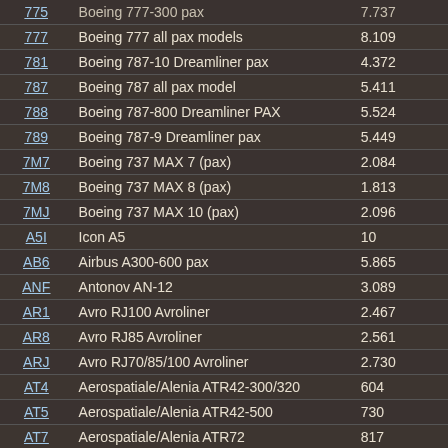| Code | Description | Value |
| --- | --- | --- |
| 775 | Boeing 777-300 pax | 7.737 |
| 777 | Boeing 777 all pax models | 8.109 |
| 781 | Boeing 787-10 Dreamliner pax | 4.372 |
| 787 | Boeing 787 all pax model | 5.411 |
| 788 | Boeing 787-800 Dreamliner PAX | 5.524 |
| 789 | Boeing 787-9 Dreamliner pax | 5.449 |
| 7M7 | Boeing 737 MAX 7 (pax) | 2.084 |
| 7M8 | Boeing 737 MAX 8 (pax) | 1.813 |
| 7MJ | Boeing 737 MAX 10 (pax) | 2.096 |
| A5I | Icon A5 | 10 |
| AB6 | Airbus A300-600 pax | 5.865 |
| ANF | Antonov AN-12 | 3.089 |
| AR1 | Avro RJ100 Avroliner | 2.467 |
| AR8 | Avro RJ85 Avroliner | 2.561 |
| ARJ | Avro RJ70/85/100 Avroliner | 2.730 |
| AT4 | Aerospatiale/Alenia ATR42-300/320 | 604 |
| AT5 | Aerospatiale/Alenia ATR42-500 | 730 |
| AT7 | Aerospatiale/Alenia ATR72 | 817 |
| ATR | Aerospatiale/Alenia ATR42/72 all pax models | 1.182 |
| B20 | Beechcraft Super King Air B200 | 300 |
| B35 | Beech Bonanza V35/H35 | 154 |
| B36 | Beech Bonanza A36 | 30 |